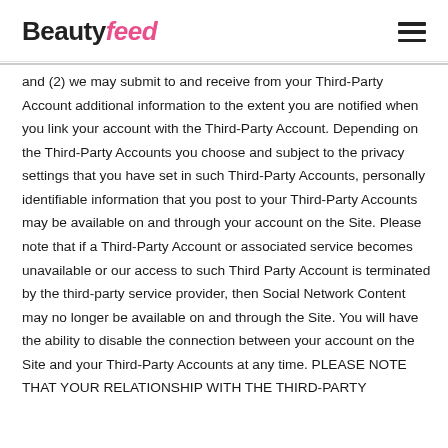BeautyFeed
and (2) we may submit to and receive from your Third-Party Account additional information to the extent you are notified when you link your account with the Third-Party Account. Depending on the Third-Party Accounts you choose and subject to the privacy settings that you have set in such Third-Party Accounts, personally identifiable information that you post to your Third-Party Accounts may be available on and through your account on the Site. Please note that if a Third-Party Account or associated service becomes unavailable or our access to such Third Party Account is terminated by the third-party service provider, then Social Network Content may no longer be available on and through the Site. You will have the ability to disable the connection between your account on the Site and your Third-Party Accounts at any time. PLEASE NOTE THAT YOUR RELATIONSHIP WITH THE THIRD-PARTY